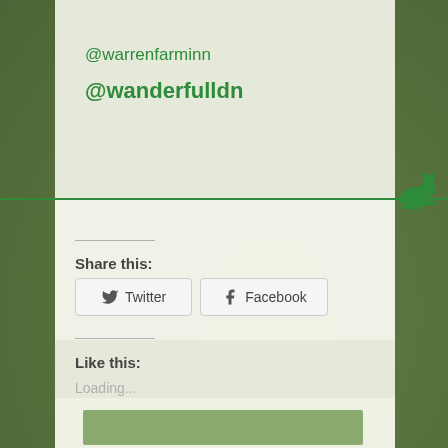@warrenfarminn
@wanderfulldn
Share this:
Twitter
Facebook
Like this:
Loading...